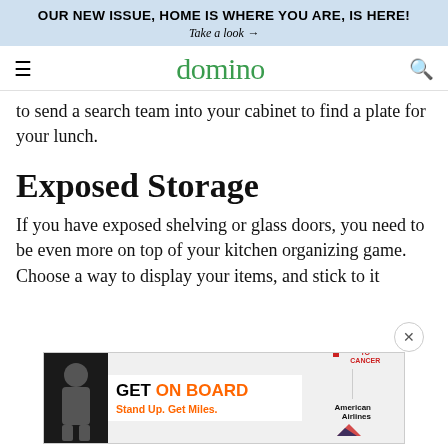OUR NEW ISSUE, HOME IS WHERE YOU ARE, IS HERE! Take a look →
domino
to send a search team into your cabinet to find a plate for your lunch.
Exposed Storage
If you have exposed shelving or glass doors, you need to be even more on top of your kitchen organizing game. Choose a way to display your items, and stick to it
[Figure (photo): Advertisement: GET ON BOARD, Stand Up. Get Miles. — American Airlines / Stand Up To Cancer. Learn More.]